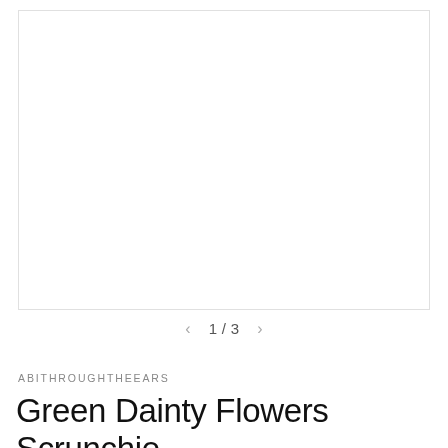[Figure (photo): Empty white image box with light gray border — product photo placeholder, 1 of 3]
1 / 3
ABITHROUGHTHEEARS
Green Dainty Flowers Scrunchie